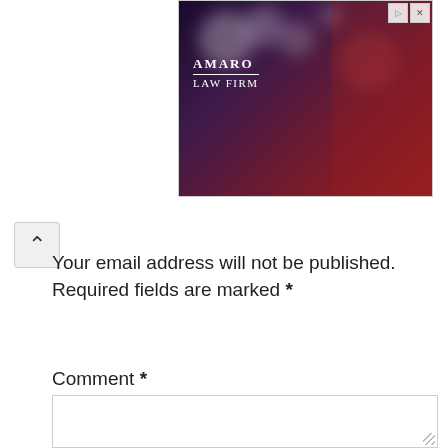[Figure (photo): Amaro Law Firm advertisement banner with dark purple/red bokeh background and white text logo]
Your email address will not be published. Required fields are marked *
Comment *
[Figure (screenshot): Empty comment text area input field with resize handle]